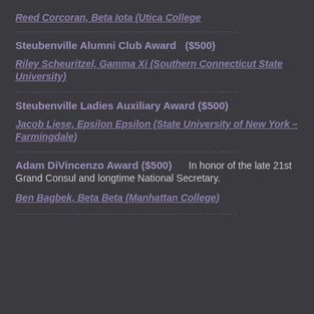Reed Corcoran, Beta Iota  (Utica College
····················································································
Steubenville Alumni Club Award   ($500)
Riley Scheuritzel, Gamma Xi  (Southern Connecticut State University)
····················································································
Steubenville Ladies Auxiliary Award  ($500)
Jacob Liese, Epsilon Epsilon  (State University of New York – Farmingdale)
····················································································
Adam DiVincenzo Award  ($500)     In honor of the late 21st Grand Consul and longtime National Secretary.
Ben Bagbek, Beta Beta  (Manhattan College)
····················································································